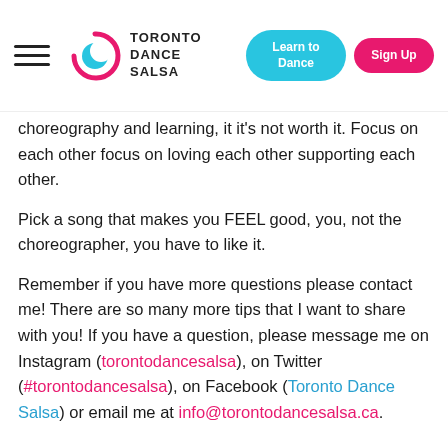Toronto Dance Salsa — hamburger menu, Learn to Dance button, Sign Up button
choreography and learning, it it's not worth it. Focus on each other focus on loving each other supporting each other.
Pick a song that makes you FEEL good, you, not the choreographer, you have to like it.
Remember if you have more questions please contact me! There are so many more tips that I want to share with you! If you have a question, please message me on Instagram (torontodancesalsa), on Twitter (#torontodancesalsa), on Facebook (Toronto Dance Salsa) or email me at info@torontodancesalsa.ca.